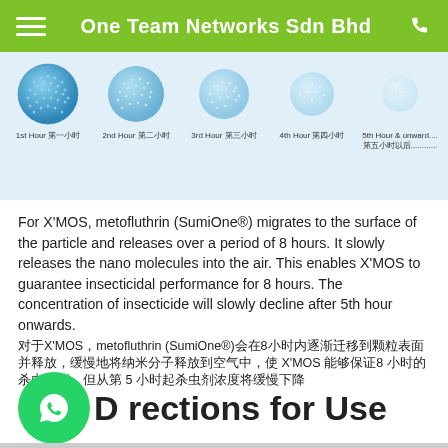One Team Networks Sdn Bhd
[Figure (illustration): Five blue dotted spheres showing stages of X'MOS particle from 1st Hour to 5th Hour & onward, labeled in English and Chinese]
For X'MOS, metofluthrin (SumiOne®) migrates to the surface of the particle and releases over a period of 8 hours. It slowly releases the nano molecules into the air. This enables X'MOS to guarantee insecticidal performance for 8 hours. The concentration of insecticide will slowly decline after 5th hour onwards.
X'MOS metofluthrin (SumiOne®) 8 X'MOS 8 5
Directions for Use